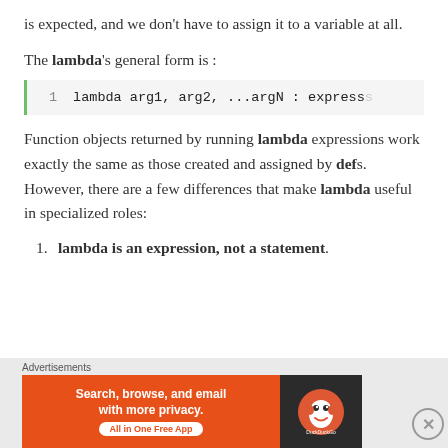is expected, and we don't have to assign it to a variable at all.
The lambda's general form is :
1  lambda arg1, arg2, ...argN : expression
Function objects returned by running lambda expressions work exactly the same as those created and assigned by defs. However, there are a few differences that make lambda useful in specialized roles:
lambda is an expression, not a statement.
[Figure (screenshot): Advertisement banner: DuckDuckGo - Search, browse, and email with more privacy. All in One Free App]